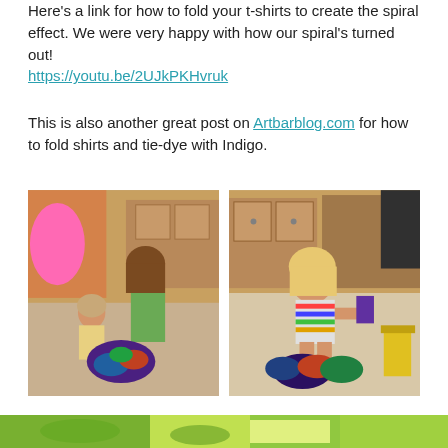Here's a link for how to fold your t-shirts to create the spiral effect. We were very happy with how our spiral's turned out! https://youtu.be/2UJkPKHvruk
This is also another great post on Artbarblog.com for how to fold shirts and tie-dye with Indigo.
[Figure (photo): Two children doing tie-dye activity on the floor, folding a shirt with colorful dyes]
[Figure (photo): Young blonde girl sitting on the floor holding tie-dye supplies with colorful dyed items in front of her]
[Figure (photo): Bottom strip of another photo showing colorful tie-dye items]